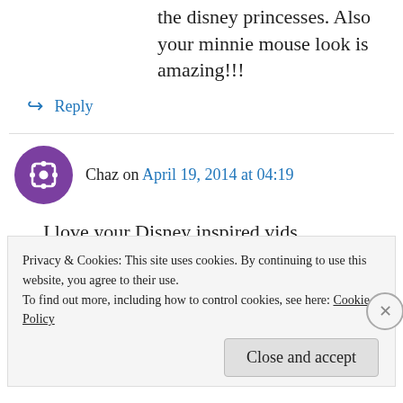the disney princesses. Also your minnie mouse look is amazing!!!
↳ Reply
Chaz on April 19, 2014 at 04:19
I love your Disney inspired vids.
↳ Reply
Aliviapoulsen on April 19, 2014 at 04:25
Privacy & Cookies: This site uses cookies. By continuing to use this website, you agree to their use. To find out more, including how to control cookies, see here: Cookie Policy
Close and accept